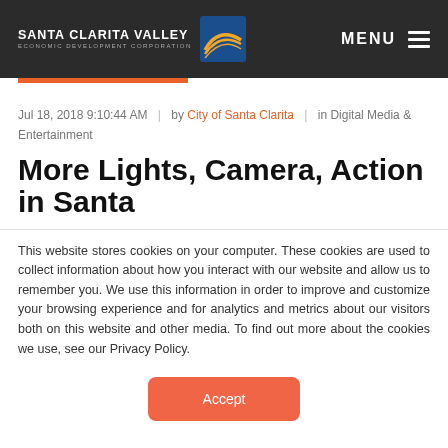SANTA CLARITA VALLEY ECONOMIC DEVELOPMENT CORPORATION | MENU
Jul 18, 2018 9:10:44 AM  |  by City of Santa Clarita  |  in Digital Media & Entertainment
More Lights, Camera, Action in Santa
This website stores cookies on your computer. These cookies are used to collect information about how you interact with our website and allow us to remember you. We use this information in order to improve and customize your browsing experience and for analytics and metrics about our visitors both on this website and other media. To find out more about the cookies we use, see our Privacy Policy.
Accept